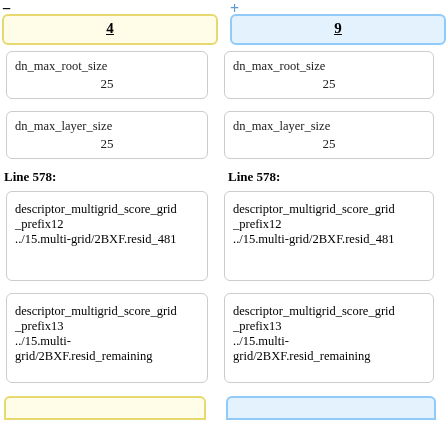— 4
+ 9
dn_max_root_size
25
dn_max_root_size
25
dn_max_layer_size
25
dn_max_layer_size
25
Line 578:
Line 578:
descriptor_multigrid_score_grid_prefix12
../15.multi-grid/2BXF.resid_481
descriptor_multigrid_score_grid_prefix12
../15.multi-grid/2BXF.resid_481
descriptor_multigrid_score_grid_prefix13
_prefix13
../15.multi-
grid/2BXF.resid_remaining
descriptor_multigrid_score_grid_prefix13
_prefix13
../15.multi-
grid/2BXF.resid_remaining